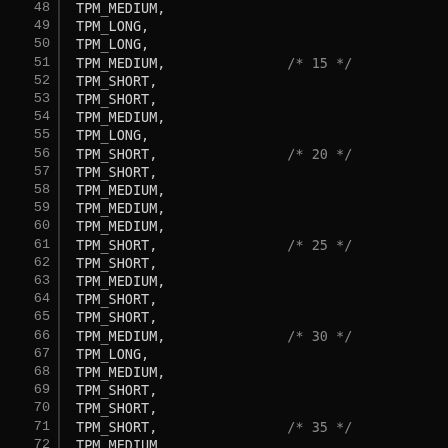Code listing showing lines 48-77 of a C/C++ source file with TPM duration constants (TPM_MEDIUM, TPM_LONG, TPM_SHORT, TPM_UNDEFINED) with periodic comments marking every 5th element (/* 15 */, /* 20 */, /* 25 */, /* 30 */, /* 35 */, /* 40 */)